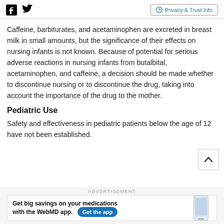Social icons (Facebook, Twitter) | Privacy & Trust Info
Caffeine, barbiturates, and acetaminophen are excreted in breast milk in small amounts, but the significance of their effects on nursing infants is not known. Because of potential for serious adverse reactions in nursing infants from butalbital, acetaminophen, and caffeine, a decision should be made whether to discontinue nursing or to discontinue the drug, taking into account the importance of the drug to the mother.
Pediatric Use
Safety and effectiveness in pediatric patients below the age of 12 have not been established.
ADVERTISEMENT
[Figure (screenshot): WebMD advertisement banner: 'Get big savings on your medications with the WebMD app. Get the app' with phone image]